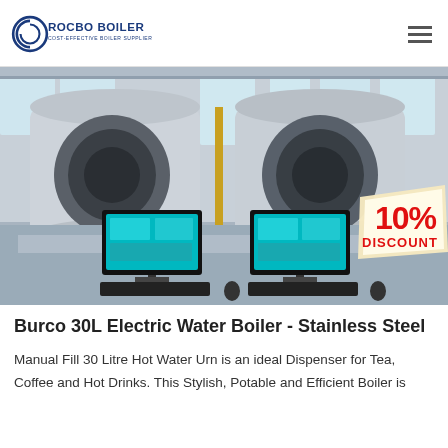ROCBO BOILER — COST-EFFECTIVE BOILER SUPPLIER
[Figure (photo): Industrial boiler facility with large cylindrical boilers in background and two computer monitors on a desk in the foreground. A red '10% DISCOUNT' badge overlaid in bottom-right of image.]
Burco 30L Electric Water Boiler - Stainless Steel
Manual Fill 30 Litre Hot Water Urn is an ideal Dispenser for Tea, Coffee and Hot Drinks. This Stylish, Potable and Efficient Boiler is